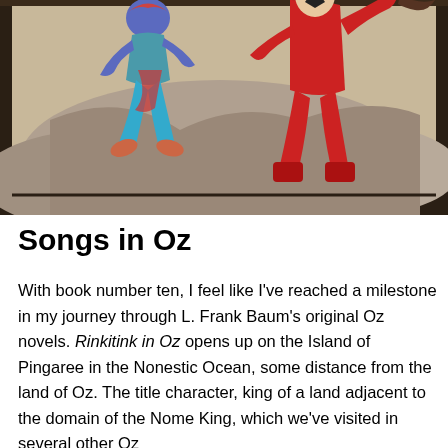[Figure (photo): Book cover art showing two fantasy characters. On the left, a blue-skinned figure with teal legs in a crouching pose. On the right, a figure dressed entirely in red. They appear to be in a rocky, adventurous setting. The image is a close-up of part of a book cover displayed against a dark wooden surface.]
Songs in Oz
With book number ten, I feel like I've reached a milestone in my journey through L. Frank Baum's original Oz novels. Rinkitink in Oz opens up on the Island of Pingaree in the Nonestic Ocean, some distance from the land of Oz. The title character, king of a land adjacent to the domain of the Nome King, which we've visited in several other Oz